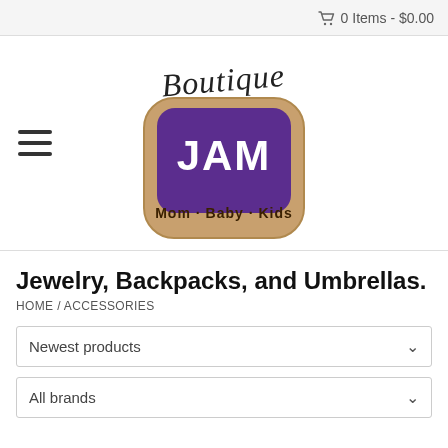0 Items - $0.00
[Figure (logo): Boutique JAM Mom Baby Kids logo - toast-shaped with purple jam, script text 'Boutique' above]
Jewelry, Backpacks, and Umbrellas.
HOME / ACCESSORIES
Newest products
All brands